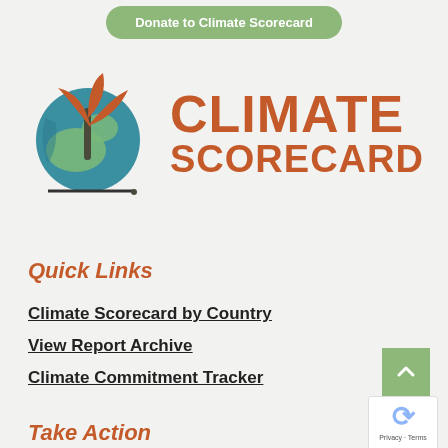Donate to Climate Scorecard
[Figure (logo): Climate Scorecard logo with globe and plant graphic and large orange CLIMATE SCORECARD text]
Quick Links
Climate Scorecard by Country
View Report Archive
Climate Commitment Tracker
Take Action